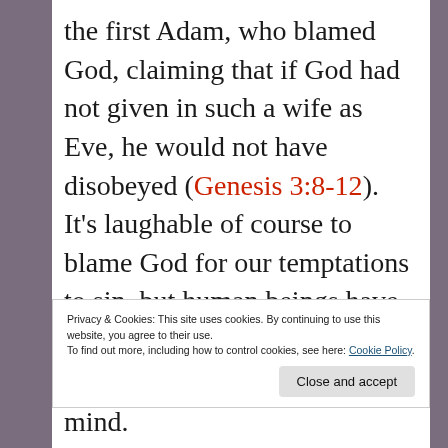the first Adam, who blamed God, claiming that if God had not given in such a wife as Eve, he would not have disobeyed (Genesis 3:8-12). It's laughable of course to blame God for our temptations to sin, but human beings have been doing it ever since even to this day. So what is it to continue to mind.
Privacy & Cookies: This site uses cookies. By continuing to use this website, you agree to their use.
To find out more, including how to control cookies, see here: Cookie Policy